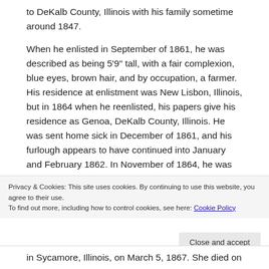to DeKalb County, Illinois with his family sometime around 1847.
When he enlisted in September of 1861, he was described as being 5'9" tall, with a fair complexion, blue eyes, brown hair, and by occupation, a farmer. His residence at enlistment was New Lisbon, Illinois, but in 1864 when he reenlisted, his papers give his residence as Genoa, DeKalb County, Illinois. He was sent home sick in December of 1861, and his furlough appears to have continued into January and February 1862. In November of 1864, he was promoted to corporal, and was
Privacy & Cookies: This site uses cookies. By continuing to use this website, you agree to their use.
To find out more, including how to control cookies, see here: Cookie Policy
in Sycamore, Illinois, on March 5, 1867. She died on